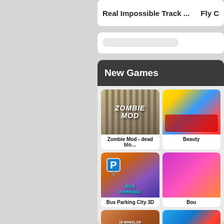Real Impossible Track ...
New Games
[Figure (screenshot): Zombie Mod game thumbnail showing prison bars and zombie text]
Zombie Mod - dead blo...
[Figure (screenshot): Beauty game thumbnail partially visible with red and blue colors]
[Figure (screenshot): Bus Parking City 3D game thumbnail showing cartoon bus with parking sign]
Bus Parking City 3D
[Figure (screenshot): Bou game thumbnail partially visible with pink/magenta colors]
Bou
[Figure (screenshot): 18 Wheeler Driving game thumbnail partially visible]
[Figure (screenshot): Another game thumbnail partially visible with blue and red colors]